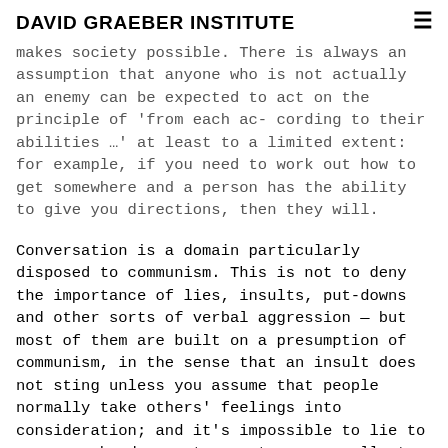DAVID GRAEBER INSTITUTE
makes society possible. There is always an assumption that anyone who is not actually an enemy can be expected to act on the principle of ‘from each ac- cording to their abilities …’ at least to a limited extent: for example, if you need to work out how to get somewhere and a person has the ability to give you directions, then they will.
Conversation is a domain particularly disposed to communism. This is not to deny the importance of lies, insults, put-downs and other sorts of verbal aggression — but most of them are built on a presumption of communism, in the sense that an insult does not sting unless you assume that people normally take others’ feelings into consideration; and it’s impossible to lie to someone who does not expect you normally to tell the truth. It is surely significant that, when we truly wish to break off amicable relations with